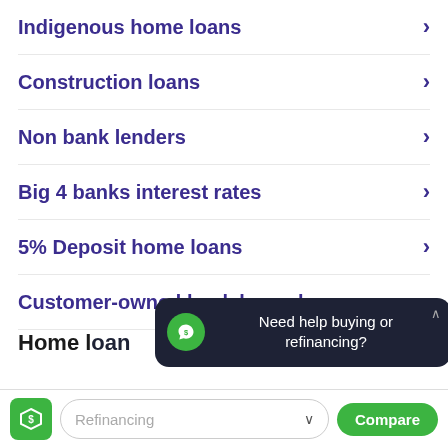Indigenous home loans
Construction loans
Non bank lenders
Big 4 banks interest rates
5% Deposit home loans
Customer-owned bank home loans
Home l...
Athena Home Loans
[Figure (screenshot): Chat popup with dark background showing 'Need help buying or refinancing?' message with green icon and close arrow]
Refinancing
Compare